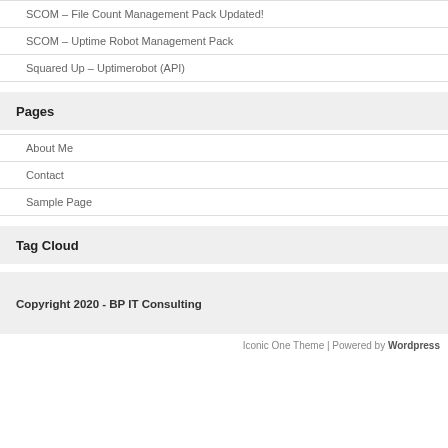SCOM – File Count Management Pack Updated!
SCOM – Uptime Robot Management Pack
Squared Up – Uptimerobot (API)
Pages
About Me
Contact
Sample Page
Tag Cloud
Copyright 2020 - BP IT Consulting
Iconic One Theme | Powered by Wordpress